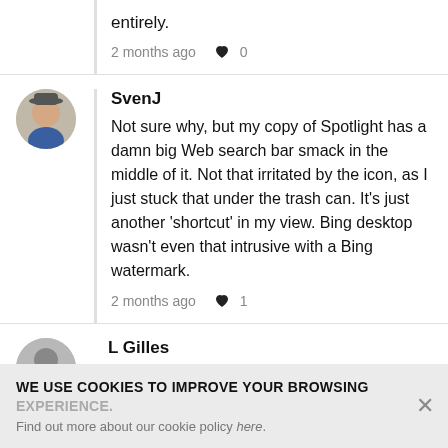entirely.
2 months ago ♥ 0
SvenJ
Not sure why, but my copy of Spotlight has a damn big Web search bar smack in the middle of it. Not that irritated by the icon, as I just stuck that under the trash can. It's just another 'shortcut' in my view. Bing desktop wasn't even that intrusive with a Bing watermark.
2 months ago ♥ 1
L Gilles
WE USE COOKIES TO IMPROVE YOUR BROWSING EXPERIENCE. Find out more about our cookie policy here.